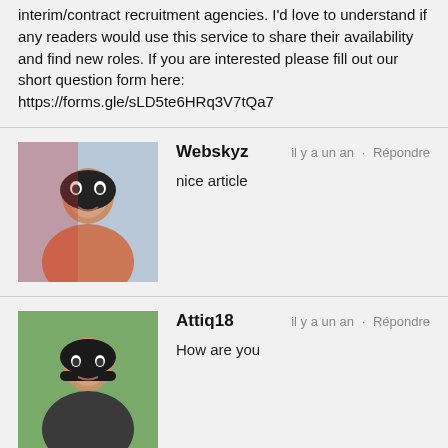interim/contract recruitment agencies. I'd love to understand if any readers would use this service to share their availability and find new roles. If you are interested please fill out our short question form here: https://forms.gle/sLD5te6HRq3V7tQa7
Webskyz
il y a un an · Répondre
nice article
Attiq18
il y a un an · Répondre
How are you
Articles correspondants